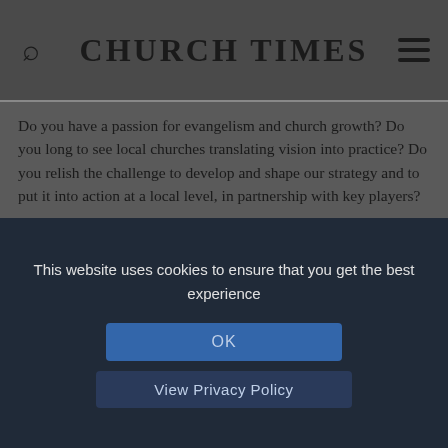CHURCH TIMES
Do you have a passion for evangelism and church growth? Do you long to see local churches translating vision into practice? Do you relish the challenge to develop and shape our strategy and to put it into action at a local level, in partnership with key players?
Community Leader
East Midlands
The Bishop of Leicester is seeking to appoint a lay or ordained Community Leader to lead the Community of the Tree of Life and encourage young adults across the diocese to explore prayer and spiritual formation.
This website uses cookies to ensure that you get the best experience
OK
View Privacy Policy